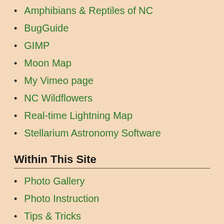Amphibians & Reptiles of NC
BugGuide
GIMP
Moon Map
My Vimeo page
NC Wildflowers
Real-time Lightning Map
Stellarium Astronomy Software
Within This Site
Photo Gallery
Photo Instruction
Tips & Tricks
Wading-In Home
Current Moon Phase